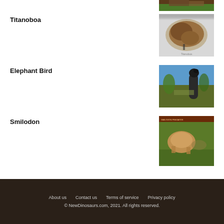[Figure (photo): Partial image at top right, showing animal in forested setting]
Titanoboa
[Figure (photo): Titanoboa giant snake coiled, shown against grey background with human for scale]
Elephant Bird
[Figure (photo): Elephant Bird large prehistoric bird shown outdoors in savanna setting]
Smilodon
[Figure (photo): Smilodon saber-tooth cat shown in outdoor grassy setting with banner header]
About us   Contact us   Terms of service   Privacy policy
© NewDinosaurs.com, 2021. All rights reserved.